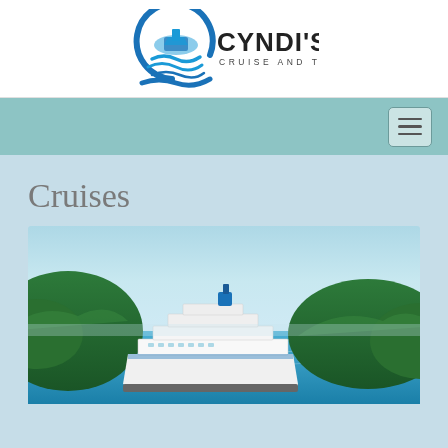[Figure (logo): Cyndi's Cruise and Travel logo with circular blue wave emblem and ship, text reads CYNDI'S CRUISE AND TRAVEL]
[Figure (other): Navigation bar with hamburger menu button on right side, teal/sage green background]
Cruises
[Figure (photo): Aerial photo of a large cruise ship in blue tropical waters between two green forested islands/hills]